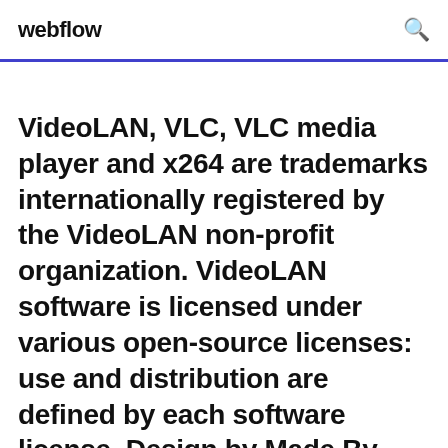webflow
VideoLAN, VLC, VLC media player and x264 are trademarks internationally registered by the VideoLAN non-profit organization. VideoLAN software is licensed under various open-source licenses: use and distribution are defined by each software license. Design by Made By Argon. Some icons are licensed under the CC BY SA